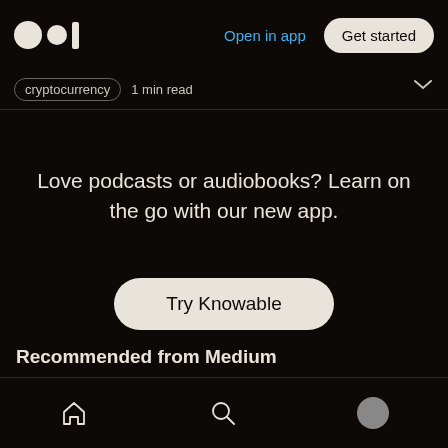Medium logo | Open in app | Get started
Cryptocurrency · 1 min read
Love podcasts or audiobooks? Learn on the go with our new app.
Try Knowable
Recommended from Medium
Home | Search | Profile